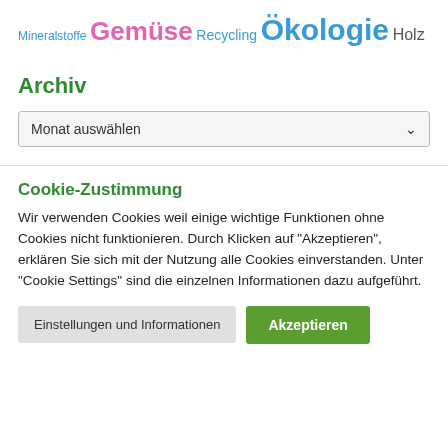Mineralstoffe Gemüse Recycling Ökologie Holz
Archiv
Monat auswählen
Cookie-Zustimmung
Wir verwenden Cookies weil einige wichtige Funktionen ohne Cookies nicht funktionieren. Durch Klicken auf "Akzeptieren", erklären Sie sich mit der Nutzung alle Cookies einverstanden. Unter "Cookie Settings" sind die einzelnen Informationen dazu aufgeführt.
Einstellungen und Informationen
Akzeptieren